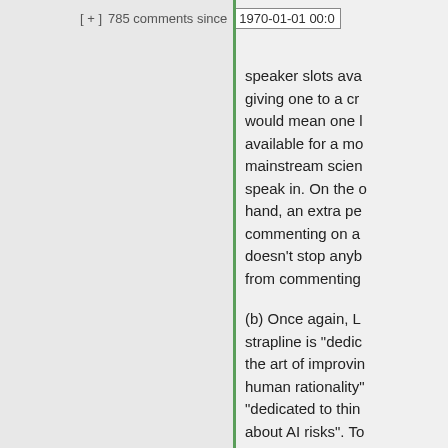[ + ]  785 comments since  1970-01-01 00:0
speaker slots ava giving one to a cr would mean one l available for a mo mainstream scien speak in. On the o hand, an extra pe commenting on a doesn't stop anyb from commenting
(b) Once again, L strapline is "dedic the art of improvin human rationality" "dedicated to thin about AI risks". To your analogy, it's